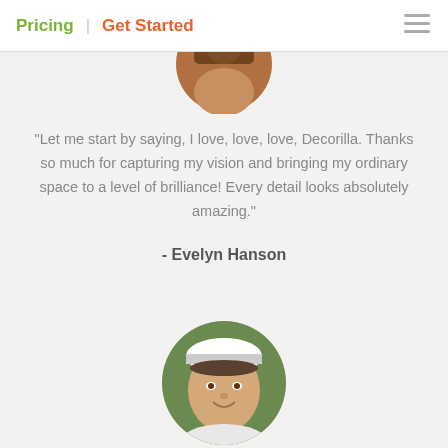Pricing | Get Started
[Figure (photo): Partial circular avatar photo of a woman, cropped at top, showing bottom half of the circle]
“Let me start by saying, I love, love, love, Decorilla. Thanks so much for capturing my vision and bringing my ordinary space to a level of brilliance! Every detail looks absolutely amazing.”
- Evelyn Hanson
[Figure (photo): Circular portrait photo of a young man wearing a white visor/cap, smiling, with greenery in the background]